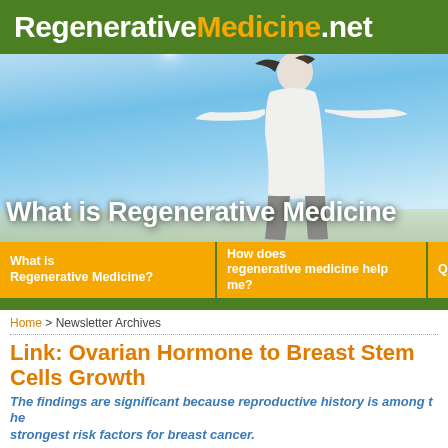RegenerativeMedicine.net
[Figure (photo): Hero banner image of a woman with arms spread against a bright blue sky, with text overlay 'What is Regenerative Medicine']
What is Regenerative Medicine?
How does regenerative medicine help me?
Ques
Home > Newsletter Archives
Link: Ovarian Hormone to Breast Stem Cells Growth
The findings are significant because reproductive history is among the strongest risk factors for breast cancer.
[Figure (photo): Photo of medical/research setting, partially visible]
Cancer researchers at Princess Margaret Hospital (PMH) in Canada have discovered that the ovarian hormone progesterone plays a pivotal role in